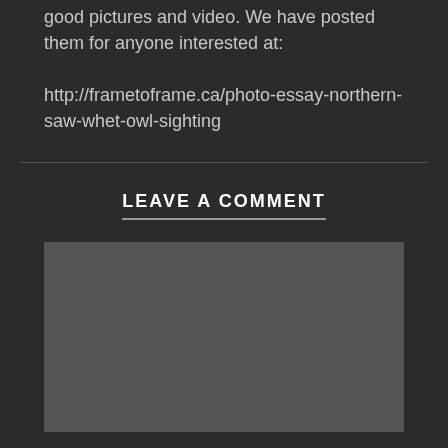good pictures and video. We have posted them for anyone interested at: http://frametoframe.ca/photo-essay-northern-saw-whet-owl-sighting
LEAVE A COMMENT
[Figure (other): Comment text area input box with dark gray background]